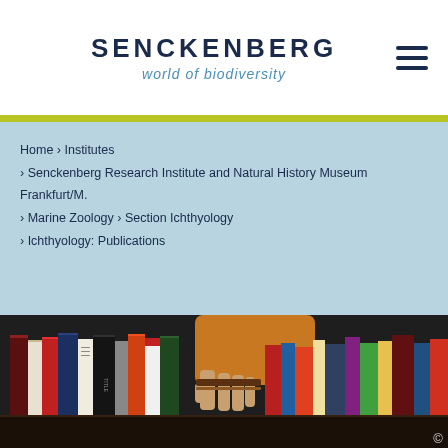SENCKENBERG world of biodiversity
Home › Institutes › Senckenberg Research Institute and Natural History Museum Frankfurt/M. › Marine Zoology › Section Ichthyology › Ichthyology: Publications
[Figure (photo): A person's hand reaching to pull a book from a crowded bookshelf, wearing a mustard/ochre sweater and bracelet. Books of various colors visible.]